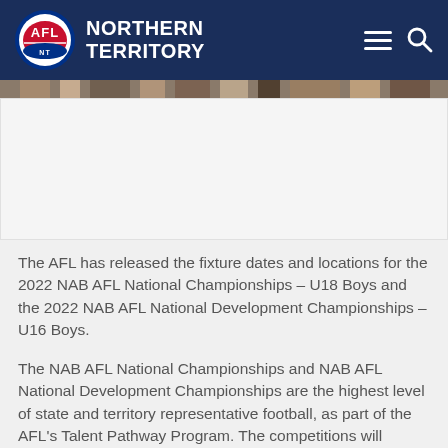AFL NORTHERN TERRITORY
[Figure (photo): Crowd/group photo strip at top of article, partially visible]
The AFL has released the fixture dates and locations for the 2022 NAB AFL National Championships – U18 Boys and the 2022 NAB AFL National Development Championships – U16 Boys.
The NAB AFL National Championships and NAB AFL National Development Championships are the highest level of state and territory representative football, as part of the AFL's Talent Pathway Program. The competitions will